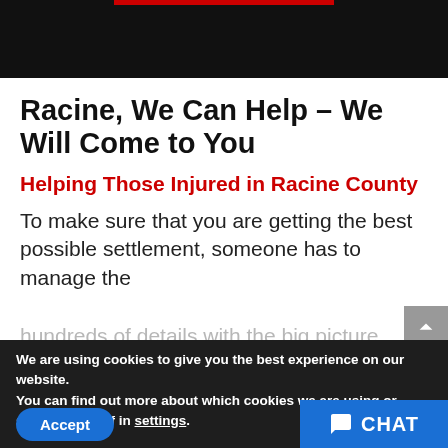Racine, We Can Help – We Will Come to You
Helping Those Injured in Racine County
To make sure that you are getting the best possible settlement, someone has to manage the
We are using cookies to give you the best experience on our website.
You can find out more about which cookies we are using or switch them off in settings.
Accept
CHAT